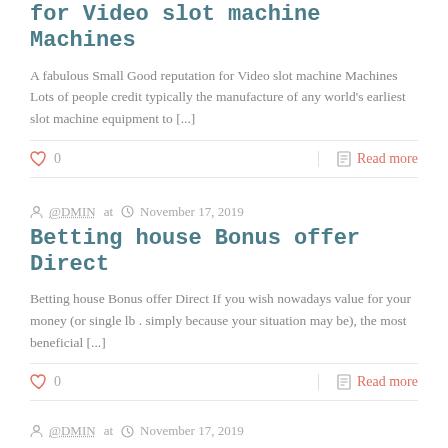for Video slot machine Machines
A fabulous Small Good reputation for Video slot machine Machines  Lots of people credit typically the manufacture of any world’s earliest slot machine equipment to [...]
♡ 0   Read more
@DMIN at  November 17, 2019
Betting house Bonus offer Direct
Betting house Bonus offer Direct If you wish nowadays value for your money (or single lb . simply because your situation may be), the most beneficial [...]
♡ 0   Read more
@DMIN at  November 17, 2019